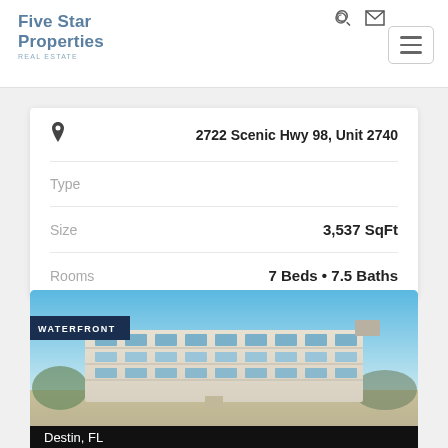[Figure (logo): Five Star Properties Real Estate logo, blue/steel color]
| Field | Value |
| --- | --- |
| (location pin) | 2722 Scenic Hwy 98, Unit 2740 |
| Type |  |
| Size | 3,537 SqFt |
| Rooms | 7 Beds • 7.5 Baths |
[Figure (photo): Waterfront multi-story condominium building on beach, blue sky, sandy beach in foreground, WATERFRONT badge overlay]
Destin, FL